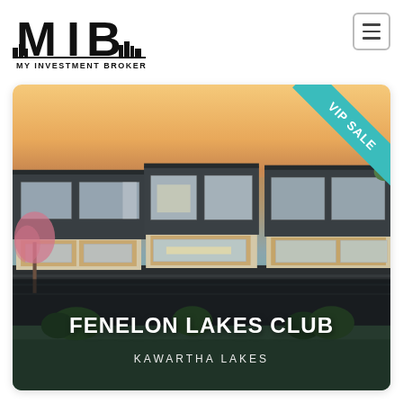[Figure (logo): My Investment Brokers (MIB) logo — bold block letters M I B with a CN Tower silhouette incorporated, cityscape below, text 'MY INVESTMENT BROKERS' underneath]
[Figure (photo): Architectural rendering of Fenelon Lakes Club — modern multi-storey townhomes with dark cladding, large windows, balconies, surrounded by greenery, sunset sky background. VIP SALE ribbon in teal on top-right corner. Text overlay: 'FENELON LAKES CLUB' in bold white, 'KAWARTHA LAKES' in lighter white below.]